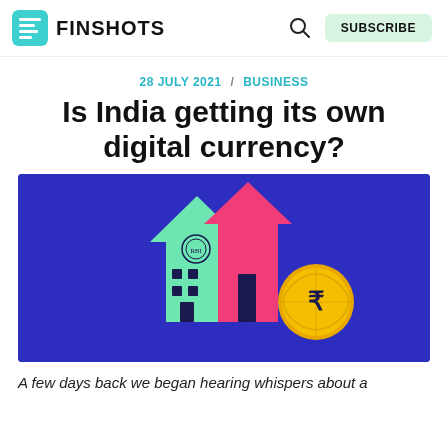FINSHOTS
28 JULY 2021 / BUSINESS
Is India getting its own digital currency?
[Figure (illustration): Illustration on blue/indigo background showing a stylized building (half mint green, half pink/magenta) with an RBI-like seal on it, alongside a gold coin with the Indian Rupee symbol, suggesting a digital currency concept.]
A few days back we began hearing whispers about a